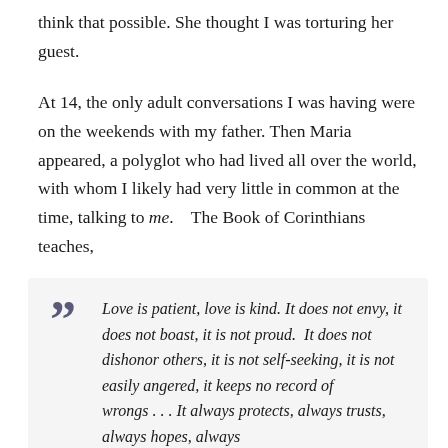think that possible. She thought I was torturing her guest.
At 14, the only adult conversations I was having were on the weekends with my father. Then Maria appeared, a polyglot who had lived all over the world, with whom I likely had very little in common at the time, talking to me.   The Book of Corinthians teaches,
Love is patient, love is kind. It does not envy, it does not boast, it is not proud.  It does not dishonor others, it is not self-seeking, it is not easily angered, it keeps no record of wrongs . . . It always protects, always trusts, always hopes, always